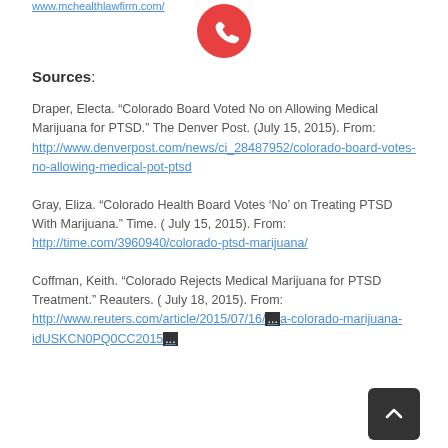www.mchealthlawfirm.com/
[Figure (illustration): Red circle phone call icon button]
Sources:
Draper, Electa. “Colorado Board Voted No on Allowing Medical Marijuana for PTSD.” The Denver Post. (July 15, 2015). From: http://www.denverpost.com/news/ci_28487952/colorado-board-votes-no-allowing-medical-pot-ptsd
Gray, Eliza. “Colorado Health Board Votes ‘No’ on Treating PTSD With Marijuana.” Time. ( July 15, 2015). From: http://time.com/3960940/colorado-ptsd-marijuana/
Coffman, Keith. “Colorado Rejects Medical Marijuana for PTSD Treatment.” Reauters. ( July 18, 2015). From: http://www.reuters.com/article/2015/07/16/us-usa-colorado-marijuana-idUSKCN0PQ0CC20150...